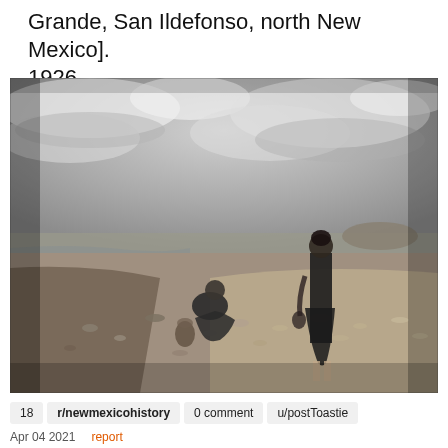Grande, San Ildefonso, north New Mexico]. 1926.
[Figure (photo): Black and white historical photograph from 1926 showing two figures near the Rio Grande at San Ildefonso, north New Mexico. One person is crouching near the water's edge among rocks, while another stands upright. The background shows a flat landscape with hills and a cloudy sky.]
18   r/newmexicohistory   0 comment   u/postToastie
Apr 04 2021   report